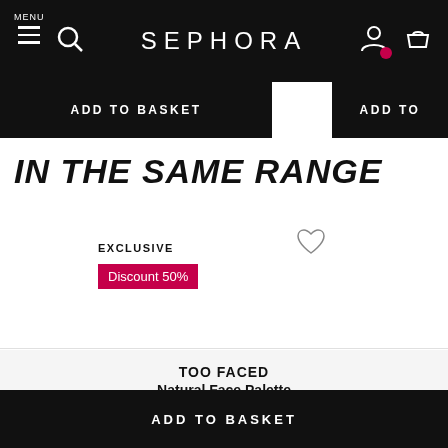SEPHORA
ADD TO BASKET
IN THE SAME RANGE
EXCLUSIVE
Discount 50%
TOO FACED Natural Face Palette Highlighter, Blush and...
ADD TO BASKET